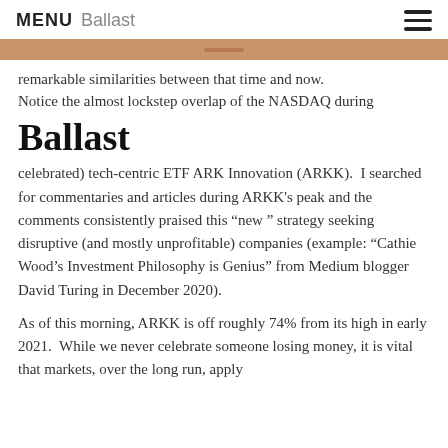MENU  Ballast
remarkable similarities between that time and now. Notice the almost lockstep overlap of the NASDAQ during
Ballast
celebrated) tech-centric ETF ARK Innovation (ARKK).  I searched for commentaries and articles during ARKK's peak and the comments consistently praised this “new” strategy seeking disruptive (and mostly unprofitable) companies (example: “Cathie Wood’s Investment Philosophy is Genius” from Medium blogger David Turing in December 2020).
As of this morning, ARKK is off roughly 74% from its high in early 2021.  While we never celebrate someone losing money, it is vital that markets, over the long run, apply